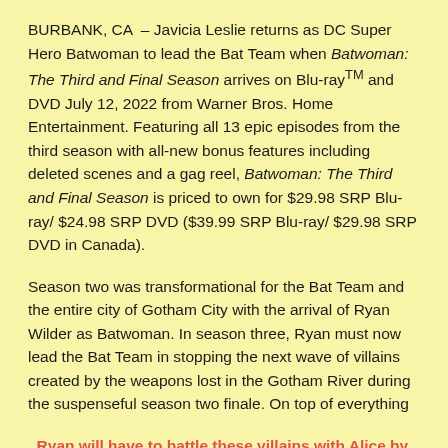BURBANK, CA – Javicia Leslie returns as DC Super Hero Batwoman to lead the Bat Team when Batwoman: The Third and Final Season arrives on Blu-ray™ and DVD July 12, 2022 from Warner Bros. Home Entertainment. Featuring all 13 epic episodes from the third season with all-new bonus features including deleted scenes and a gag reel, Batwoman: The Third and Final Season is priced to own for $29.98 SRP Blu-ray/ $24.98 SRP DVD ($39.99 SRP Blu-ray/ $29.98 SRP DVD in Canada).
Season two was transformational for the Bat Team and the entire city of Gotham City with the arrival of Ryan Wilder as Batwoman. In season three, Ryan must now lead the Bat Team in stopping the next wave of villains created by the weapons lost in the Gotham River during the suspenseful season two finale. On top of everything
, Ryan will have to battle these villains with Alice by her side! As a new generation of Rogues torments Gotham